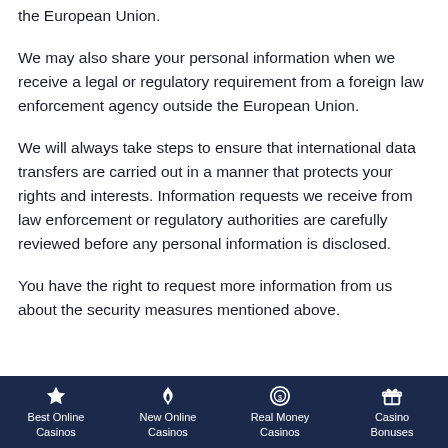the European Union.
We may also share your personal information when we receive a legal or regulatory requirement from a foreign law enforcement agency outside the European Union.
We will always take steps to ensure that international data transfers are carried out in a manner that protects your rights and interests. Information requests we receive from law enforcement or regulatory authorities are carefully reviewed before any personal information is disclosed.
You have the right to request more information from us about the security measures mentioned above.
Best Online Casinos | New Online Casinos | Real Money Casinos | Casino Bonuses